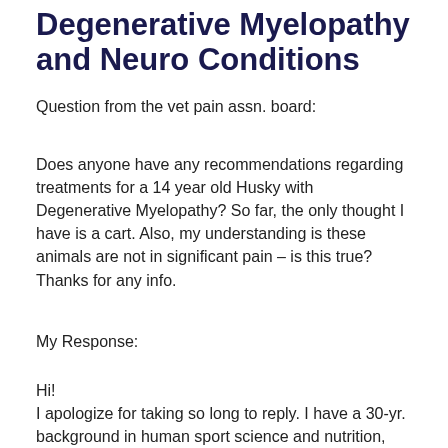Degenerative Myelopathy and Neuro Conditions
Question from the vet pain assn. board:
Does anyone have any recommendations regarding treatments for a 14 year old Husky with Degenerative Myelopathy? So far, the only thought I have is a cart. Also, my understanding is these animals are not in significant pain – is this true? Thanks for any info.
My Response:
Hi!
I apologize for taking so long to reply. I have a 30-yr. background in human sport science and nutrition, worked two years in a veterinary specialty hospital designing and building the rehab dept., and since 2007 have had a mobile practice wherein I serve a huge number of